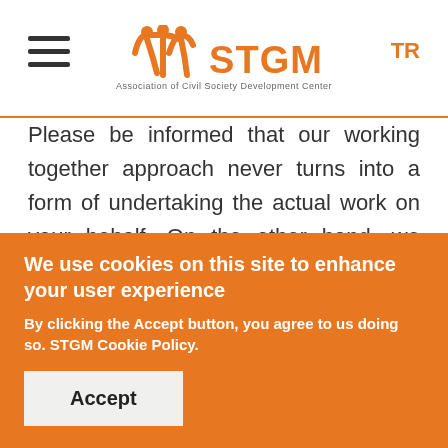[Figure (logo): STGM logo with orange icon and text, Association of Civil Society Development Center tagline]
Please be informed that our working together approach never turns into a form of undertaking the actual work on your behalf. On the other hand, we sometimes need to prioritize requests, when demands for these supports exceeds our capacity. In these cases, we would like to
We use cookies on this site to enhance your user experience
By clicking the Accept button, you agree to us doing so. STGM Cookie Policy.
Accept